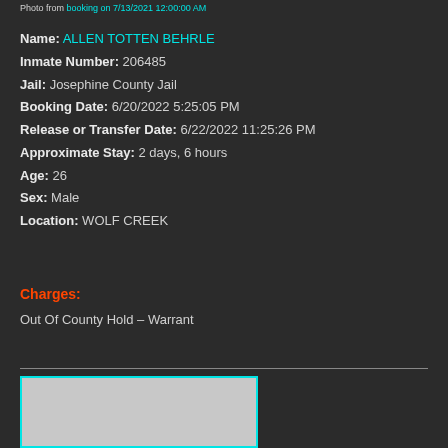Photo from booking on 7/13/2021 12:00:00 AM
Name: ALLEN TOTTEN BEHRLE
Inmate Number: 206485
Jail: Josephine County Jail
Booking Date: 6/20/2022 5:25:05 PM
Release or Transfer Date: 6/22/2022 11:25:26 PM
Approximate Stay: 2 days, 6 hours
Age: 26
Sex: Male
Location: WOLF CREEK
Charges:
Out Of County Hold – Warrant
[Figure (photo): Inmate booking photo (mugshot), partially visible at bottom of page]